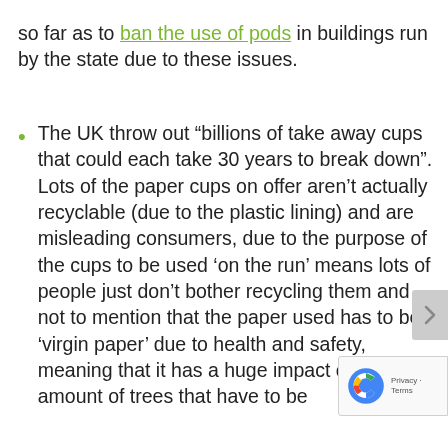so far as to ban the use of pods in buildings run by the state due to these issues.
The UK throw out “billions of take away cups that could each take 30 years to break down”. Lots of the paper cups on offer aren’t actually recyclable (due to the plastic lining) and are misleading consumers, due to the purpose of the cups to be used ‘on the run’ means lots of people just don’t bother recycling them and not to mention that the paper used has to be ‘virgin paper’ due to health and safety, meaning that it has a huge impact on the amount of trees that have to be